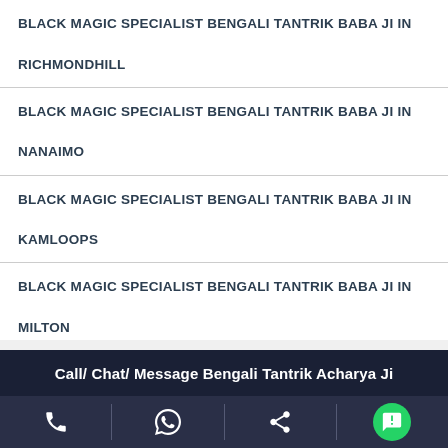BLACK MAGIC SPECIALIST BENGALI TANTRIK BABA JI IN RICHMONDHILL
BLACK MAGIC SPECIALIST BENGALI TANTRIK BABA JI IN NANAIMO
BLACK MAGIC SPECIALIST BENGALI TANTRIK BABA JI IN KAMLOOPS
BLACK MAGIC SPECIALIST BENGALI TANTRIK BABA JI IN MILTON
BLACK MAGIC SPECIALIST BENGALI TANTRIK BABA JI IN CHILLIWACK
Call/ Chat/ Message Bengali Tantrik Acharya Ji